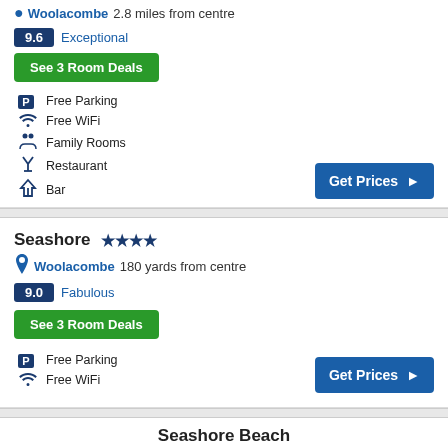Woolacombe  2.8 miles from centre
9.6 Exceptional
See 3 Room Deals
Free Parking
Free WiFi
Family Rooms
Restaurant
Bar
Get Prices
Seashore ★★★★
Woolacombe  180 yards from centre
9.0 Fabulous
See 3 Room Deals
Free Parking
Free WiFi
Get Prices
Seashore Beach